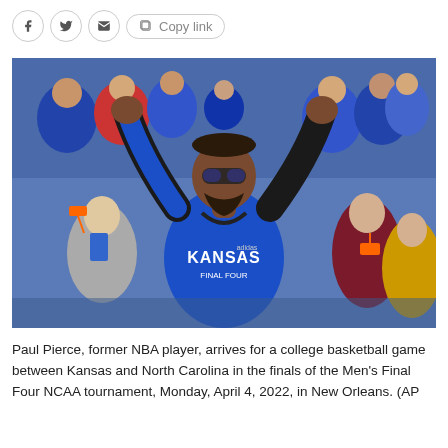Share toolbar: Facebook, Twitter, Email, Copy link
[Figure (photo): Paul Pierce, former NBA player, wearing a blue Kansas jersey with arms raised celebrating in a crowd at a basketball arena. He is wearing sunglasses and a beaded necklace. The crowd behind him is wearing blue. He appears to be at the Men's Final Four NCAA tournament in New Orleans, April 4, 2022.]
Paul Pierce, former NBA player, arrives for a college basketball game between Kansas and North Carolina in the finals of the Men's Final Four NCAA tournament, Monday, April 4, 2022, in New Orleans. (AP